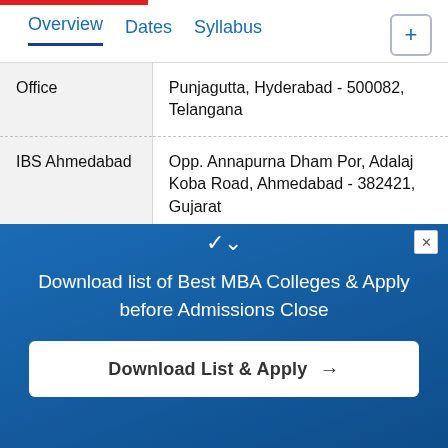Overview   Dates   Syllabus
| Location | Address |
| --- | --- |
| Office | Punjagutta, Hyderabad - 500082, Telangana |
| IBS Ahmedabad | Opp. Annapurna Dham Por, Adalaj Koba Road, Ahmedabad - 382421, Gujarat |
| IBS Bangalore (IFHE Off Campus) | # 231, Baba Sabarapalya, Mysore Road Near Check Post, Kengeri, Bengaluru– 560060. Karnataka |
Download list of Best MBA Colleges & Apply before Admissions Close
Download List & Apply →